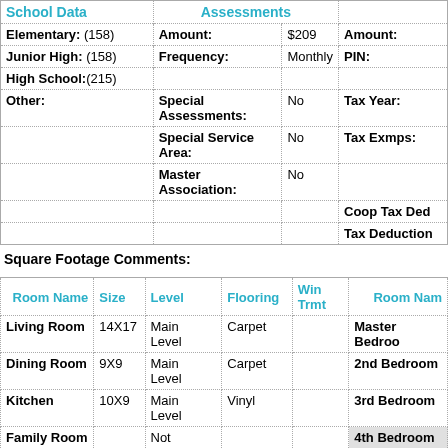| School Data | Assessments |  |  |
| --- | --- | --- | --- |
| Elementary: (158) | Amount: | $209 | Amount: |
| Junior High: (158) | Frequency: | Monthly | PIN: |
| High School: (215) |  |  |  |
| Other: | Special Assessments: | No | Tax Year: |
|  | Special Service Area: | No | Tax Exmps: |
|  | Master Association: | No |  |
|  |  |  | Coop Tax Ded |
|  |  |  | Tax Deduction |
Square Footage Comments:
| Room Name | Size | Level | Flooring | Win Trmt | Room Name |
| --- | --- | --- | --- | --- | --- |
| Living Room | 14X17 | Main Level | Carpet |  | Master Bedroom |
| Dining Room | 9X9 | Main Level | Carpet |  | 2nd Bedroom |
| Kitchen | 10X9 | Main Level | Vinyl |  | 3rd Bedroom |
| Family Room |  | Not Applicable |  |  | 4th Bedroom |
| Laundry Room | 3X6 | Main | Vinyl | None | Foyer |